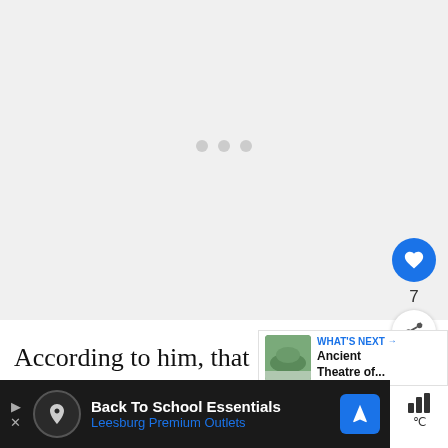[Figure (other): Loading image placeholder with three gray dots in the center on a light gray background]
[Figure (other): Heart/like button (blue circle with white heart icon), count of 7, and share button (white circle with share icon)]
[Figure (other): What's Next sidebar card with thumbnail image and title 'Ancient Theatre of...']
According to him, that would explain the p pumice in Knossos and the abrupt flooding and
[Figure (other): Advertisement bar: Back To School Essentials, Leesburg Premium Outlets, with logo and navigation icon]